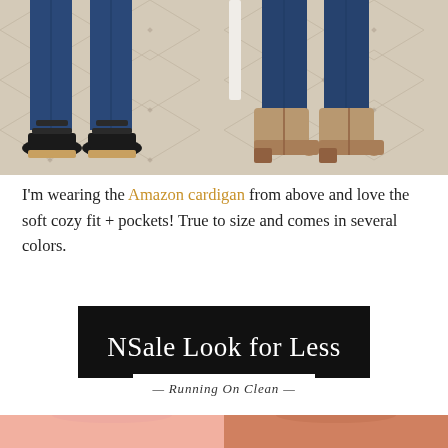[Figure (photo): Two side-by-side photos of a person from the waist down wearing dark blue jeans: left photo shows black strappy sandals/slides on a patterned rug, right photo shows tan/beige ankle boots on the same rug]
I'm wearing the Amazon cardigan from above and love the soft cozy fit + pockets! True to size and comes in several colors.
[Figure (infographic): Black banner with white serif text reading 'NSale Look for Less' and a script watermark below reading '— Running On Clean —']
[Figure (photo): Bottom portion showing two sweatshirts: left is a light pink/blush crew-neck sweatshirt, right is a terracotta/rust crew-neck sweatshirt]